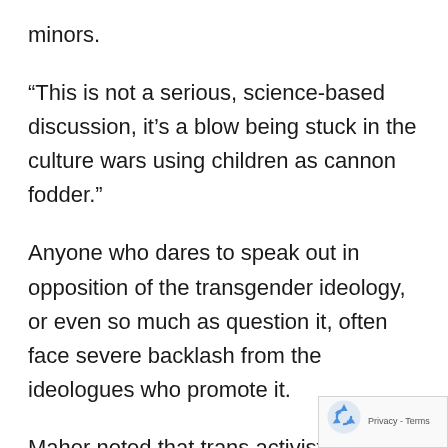minors.
“This is not a serious, science-based discussion, it’s a blow being stuck in the culture wars using children as cannon fodder.”
Anyone who dares to speak out in opposition of the transgender ideology, or even so much as question it, often face severe backlash from the ideologues who promote it.
Maher noted that trans activist Chase Stran recently said that stopping the circulation o
[Figure (logo): Google reCAPTCHA badge with recycling arrow logo icon and Privacy - Terms text]